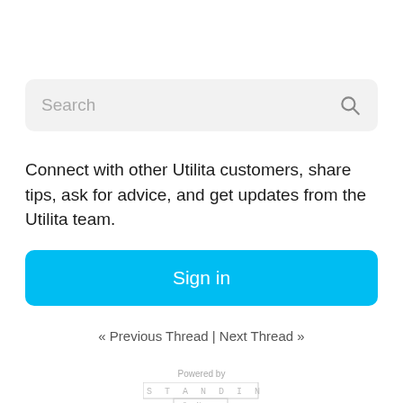[Figure (screenshot): Search input box with placeholder text 'Search' and a magnifying glass icon on the right, on a light grey background]
Connect with other Utilita customers, share tips, ask for advice, and get updates from the Utilita team.
[Figure (other): Blue 'Sign in' button with white text]
« Previous Thread | Next Thread »
Powered by
[Figure (logo): STANDING ON logo in pixel/block style lettering]